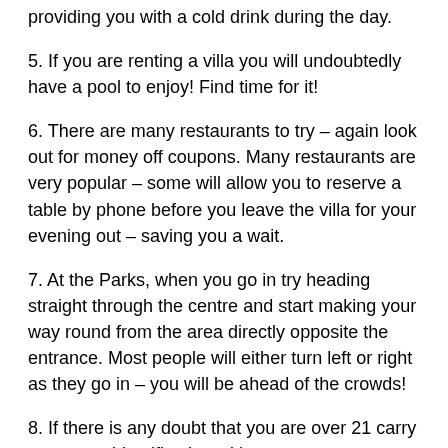providing you with a cold drink during the day.
5. If you are renting a villa you will undoubtedly have a pool to enjoy! Find time for it!
6. There are many restaurants to try – again look out for money off coupons. Many restaurants are very popular – some will allow you to reserve a table by phone before you leave the villa for your evening out – saving you a wait.
7. At the Parks, when you go in try heading straight through the centre and start making your way round from the area directly opposite the entrance. Most people will either turn left or right as they go in – you will be ahead of the crowds!
8. If there is any doubt that you are over 21 carry some age identification with you – passport or driving licence. This will mean you will be served alcohol without problem